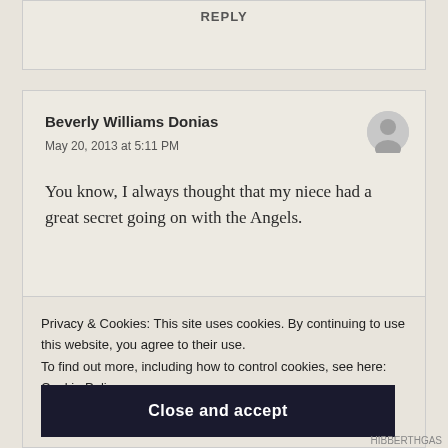REPLY
Beverly Williams Donias
May 20, 2013 at 5:11 PM
You know, I always thought that my niece had a great secret going on with the Angels.
Privacy & Cookies: This site uses cookies. By continuing to use this website, you agree to their use.
To find out more, including how to control cookies, see here: Cookie Policy
Close and accept